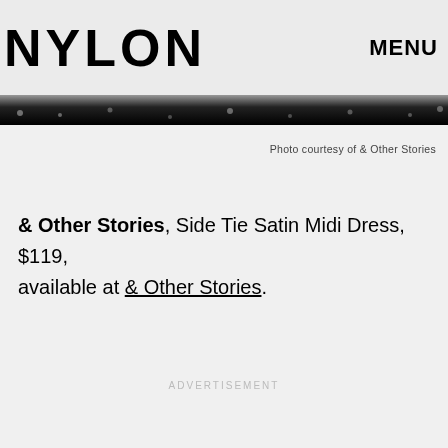NYLON   MENU
Photo courtesy of & Other Stories
& Other Stories, Side Tie Satin Midi Dress, $119, available at & Other Stories.
ADVERTISEMENT